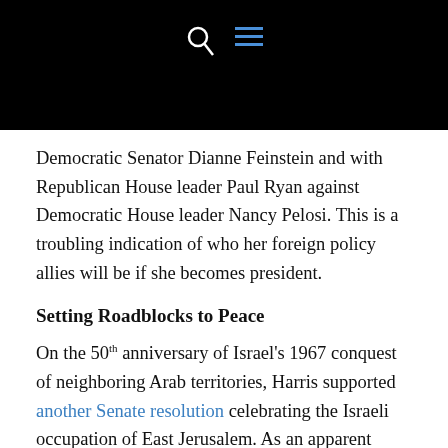[Figure (other): Black navigation bar with search icon (magnifying glass) and hamburger menu icon (three horizontal blue lines) on dark background]
Democratic Senator Dianne Feinstein and with Republican House leader Paul Ryan against Democratic House leader Nancy Pelosi. This is a troubling indication of who her foreign policy allies will be if she becomes president.
Setting Roadblocks to Peace
On the 50th anniversary of Israel's 1967 conquest of neighboring Arab territories, Harris supported another Senate resolution celebrating the Israeli occupation of East Jerusalem. As an apparent effort to discredit reports by human rights groups critical of